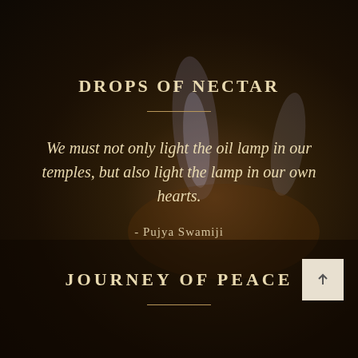[Figure (photo): Dark background with oil lamp flame visible, warm amber tones]
DROPS OF NECTAR
We must not only light the oil lamp in our temples, but also light the lamp in our own hearts.
- Pujya Swamiji
JOURNEY OF PEACE